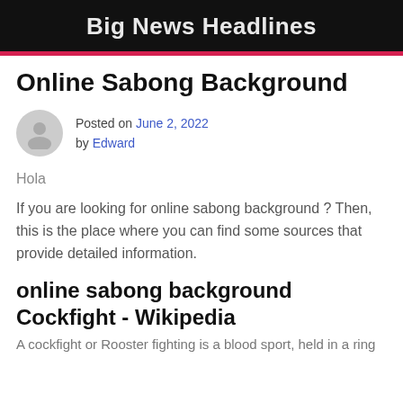Big News Headlines
Online Sabong Background
Posted on June 2, 2022 by Edward
Hola
If you are looking for online sabong background ? Then, this is the place where you can find some sources that provide detailed information.
online sabong background
Cockfight - Wikipedia
A cockfight or Rooster fighting is a blood sport, held in a ring called a cockpit. The history of cockfight dates back for thousands of years.